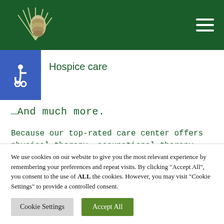[Figure (logo): Pine cone and needle logo on dark green header bar with hamburger menu icon]
Hospice care
…And much more.
Because our top-rated care center offers physical therapy, occupational therapy, and speech therapy, our 24-hour nursing staff is fully familiar with all the different schedules and routines. Additionally, all our
We use cookies on our website to give you the most relevant experience by remembering your preferences and repeat visits. By clicking "Accept All", you consent to the use of ALL the cookies. However, you may visit "Cookie Settings" to provide a controlled consent.